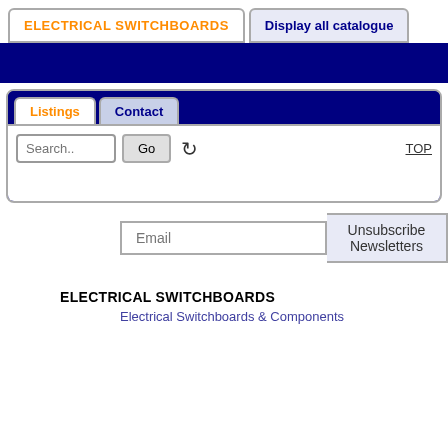ELECTRICAL SWITCHBOARDS | Display all catalogue
[Figure (screenshot): Dark blue navigation banner]
Listings | Contact
Search.. Go [refresh] TOP
Email | Unsubscribe Newsletters
ELECTRICAL SWITCHBOARDS
Electrical Switchboards & Components